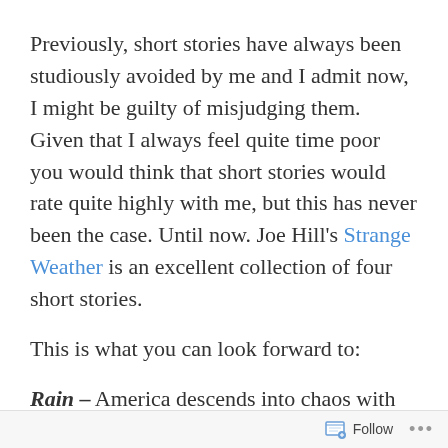Previously, short stories have always been studiously avoided by me and I admit now, I might be guilty of misjudging them. Given that I always feel quite time poor you would think that short stories would rate quite highly with me, but this has never been the case. Until now. Joe Hill's Strange Weather is an excellent collection of four short stories.
This is what you can look forward to:
Rain – America descends into chaos with sharp glass icicles raining from the sky with lethal results to those unfortunate enough to be caught outside. Of course it doesn't take long for the vagaries of human nature to emerge and for polar changes to happen in people that
Follow ···